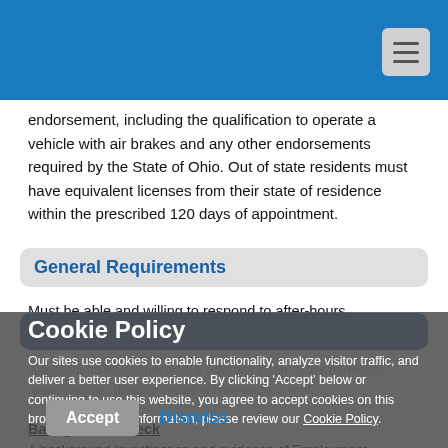endorsement, including the qualification to operate a vehicle with air brakes and any other endorsements required by the State of Ohio. Out of state residents must have equivalent licenses from their state of residence within the prescribed 120 days of appointment.
General Requirements
Must be able and willing to respond to after-hours emergency calls 24 hours a day, 7 days a week as required.
Notes
Applications must specifically address each of the minimum qualifications, directly showing how each is met.
Background Check
A background investigation and evidence of Employment Authorization and Identity is required prior to employment. All candidates must pass any level of background investigation
Cookie Policy
Our sites use cookies to enable functionality, analyze visitor traffic, and deliver a better user experience. By clicking 'Accept' below or continuing to use this website, you agree to accept cookies on this browser. For more information, please review our Cookie Policy.
Accept   Dismiss